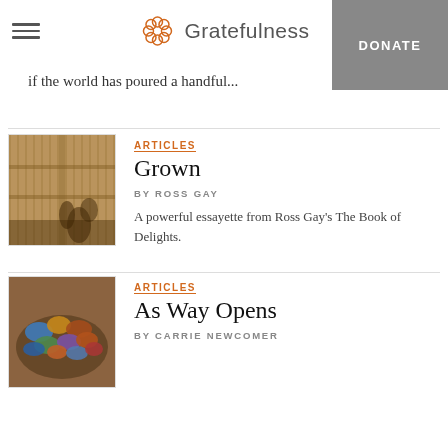Gratefulness | DONATE
if the world has poured a handful...
[Figure (photo): Photo of a window casting shadows of a plant on blinds]
ARTICLES
Grown
BY ROSS GAY
A powerful essayette from Ross Gay's The Book of Delights.
[Figure (photo): Photo of colorful tumbled stones in a bowl]
ARTICLES
As Way Opens
BY CARRIE NEWCOMER